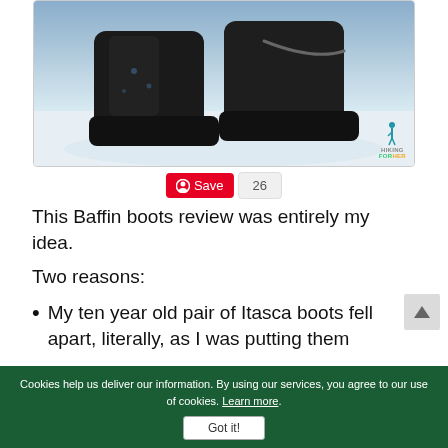[Figure (photo): Black Baffin winter boots photographed on white snow, with HikingForHer logo watermark in bottom right corner]
Save 26
This Baffin boots review was entirely my idea.
Two reasons:
My ten year old pair of Itasca boots fell apart, literally, as I was putting them
Cookies help us deliver our information. By using our services, you agree to our use of cookies. Learn more. Got it!